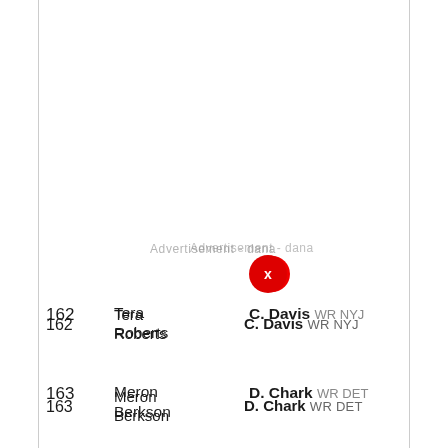162  Tera Roberts  C. Davis WR NYJ
163  Meron Berkson  D. Chark WR DET
164  Heath Cummings  J. Jones WR TB
165  Robert Thomas  M. Jones WR JAC
166  Dave Richard  T. Davis-Price RB SF